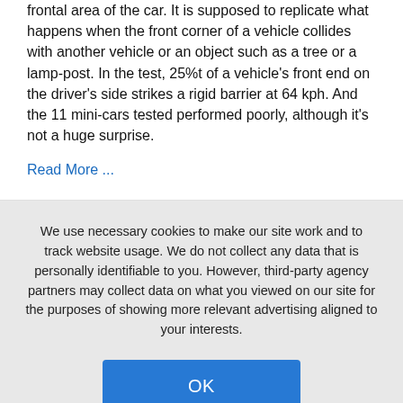frontal area of the car. It is supposed to replicate what happens when the front corner of a vehicle collides with another vehicle or an object such as a tree or a lamp-post. In the test, 25%t of a vehicle's front end on the driver's side strikes a rigid barrier at 64 kph. And the 11 mini-cars tested performed poorly, although it's not a huge surprise.
Read More ...
We use necessary cookies to make our site work and to track website usage. We do not collect any data that is personally identifiable to you. However, third-party agency partners may collect data on what you viewed on our site for the purposes of showing more relevant advertising aligned to your interests.
OK